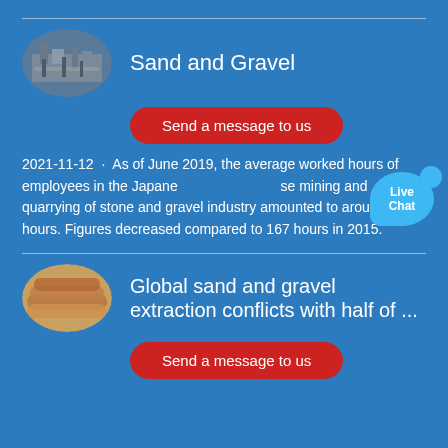[Figure (photo): Oval-shaped photo of industrial sand and gravel processing facility with metal structures]
Sand and Gravel
Send a message to us
2021-11-12 · As of June 2019, the average worked hours of employees in the Japanese mining and quarrying of stone and gravel industry amounted to around 161 hours. Figures decreased compared to 167 hours in 2015.
[Figure (photo): Oval-shaped photo of large industrial pipes or tubes for sand and gravel extraction]
Global sand and gravel extraction conflicts with half of ...
Send a message to us